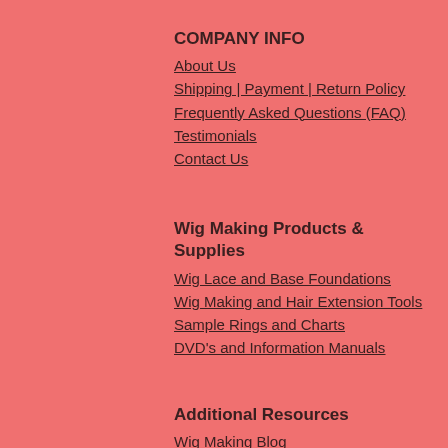COMPANY INFO
About Us
Shipping | Payment | Return Policy
Frequently Asked Questions (FAQ)
Testimonials
Contact Us
Wig Making Products & Supplies
Wig Lace and Base Foundations
Wig Making and Hair Extension Tools
Sample Rings and Charts
DVD's and Information Manuals
Additional Resources
Wig Making Blog
FREE Video Instruction
Custom Wig Head Measurements
Facial Profile
Wig and Hair Extension Tips
Online Wig Making Classes